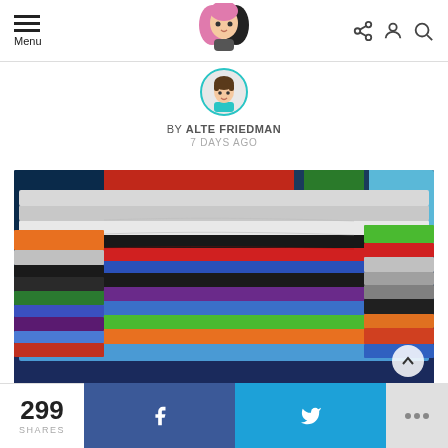Menu | [logo] | [share] [profile] [search]
BY ALTE FRIEDMAN
7 DAYS AGO
[Figure (photo): Stack of colorful folded t-shirts in blue, navy, gray, white, black, red, orange, green, purple — displayed on a market or store table.]
299 SHARES | f | [Twitter bird] | ...